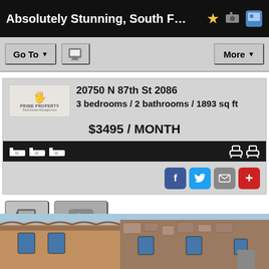Absolutely Stunning, South F…
[Figure (screenshot): Toolbar with Go To dropdown, print button, and More dropdown]
20750 N 87th St 2086
3 bedrooms / 2 bathrooms / 1893 sq ft
$3495 / MONTH
[Figure (screenshot): Social share buttons: Facebook, Twitter, Email, Plus]
[Figure (screenshot): Media buttons: slideshow and video play button]
[Figure (photo): Exterior photo of a Southwest-style apartment building with stucco and stone facade, tiled roof, blue sky]